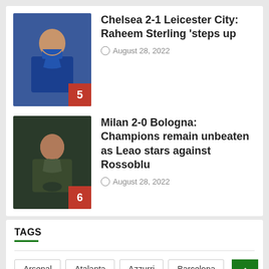[Figure (photo): Football player in Chelsea blue jersey celebrating]
Chelsea 2-1 Leicester City: Raheem Sterling 'steps up
August 28, 2022
[Figure (photo): Football player in dark jersey celebrating on pitch]
Milan 2-0 Bologna: Champions remain unbeaten as Leao stars against Rossoblu
August 28, 2022
TAGS
Arsenal
Atalanta
Azzurri
Barcelona
Bologna
Cagliari
Champions League
Chelsea
Cristiano Ronaldo